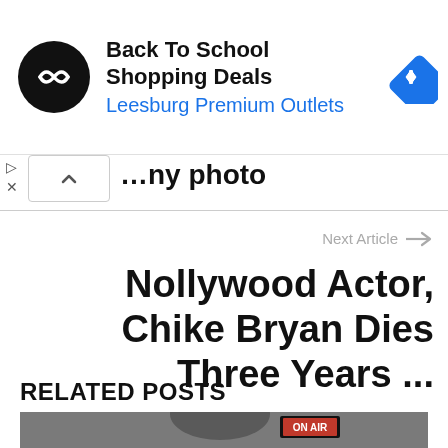[Figure (other): Advertisement banner: black circular logo with double arrow icon, text 'Back To School Shopping Deals' and 'Leesburg Premium Outlets' in blue, blue diamond navigation icon on right]
…ny photo
Next Article →
Nollywood Actor, Chike Bryan Dies Three Years ...
RELATED POSTS
[Figure (photo): Photo of a bald man with 'ON AIR' sign in background]